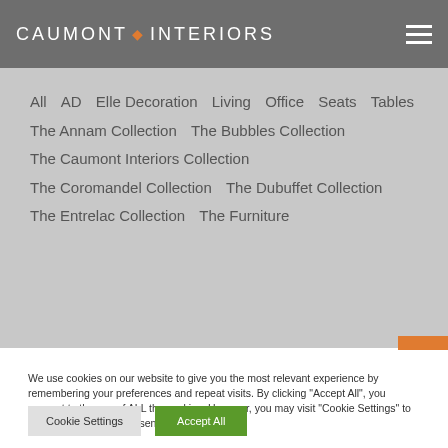CAUMONT INTERIORS
All   AD   Elle Decoration   Living   Office   Seats   Tables   The Annam Collection   The Bubbles Collection   The Caumont Interiors Collection   The Coromandel Collection   The Dubuffet Collection   The Entrelac Collection   The Furniture
We use cookies on our website to give you the most relevant experience by remembering your preferences and repeat visits. By clicking "Accept All", you consent to the use of ALL the cookies. However, you may visit "Cookie Settings" to provide a controlled consent.